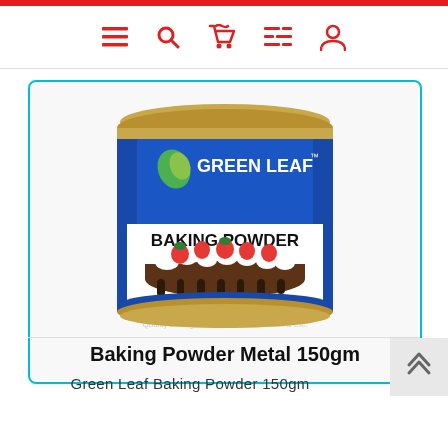Navigation bar with menu, search, cart, list, and profile icons
[Figure (photo): Green Leaf brand baking powder in a blue metal tin can (150gm), showing the product label with a decorated chocolate cake image on it. The label reads 'GREEN LEAF' at top with a leaf logo, 'BAKING POWDER' in bold, and '150gm' on a red strip. Below the can image is text 'Baking Powder Metal 150gm'.]
Green Leaf Baking Powder 150gm